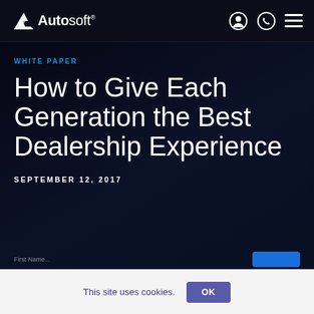Autosoft
WHITE PAPER
How to Give Each Generation the Best Dealership Experience
SEPTEMBER 12, 2017
This site uses cookies.